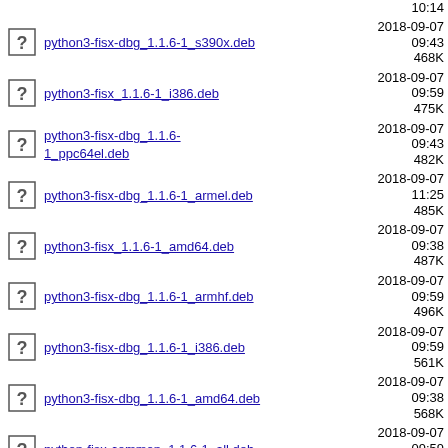python3-fisx-dbg_1.1.6-1_s390x.deb  2018-09-07 09:43  468K
python3-fisx_1.1.6-1_i386.deb  2018-09-07 09:59  475K
python3-fisx-dbg_1.1.6-1_ppc64el.deb  2018-09-07 09:43  482K
python3-fisx-dbg_1.1.6-1_armel.deb  2018-09-07 11:25  485K
python3-fisx_1.1.6-1_amd64.deb  2018-09-07 09:38  487K
python3-fisx-dbg_1.1.6-1_armhf.deb  2018-09-07 09:59  496K
python3-fisx-dbg_1.1.6-1_i386.deb  2018-09-07 09:59  561K
python3-fisx-dbg_1.1.6-1_amd64.deb  2018-09-07 09:38  568K
python-fisx-common_1.1.6-1_all.deb  2018-09-07 09:59  3.3M
python-fisx-common_1.2.0-1_all.deb  2021-01-06 15:03  3.3M
python-fisx-common_1.1.2-1_all.deb  2016-11-27 11:06  3.3M